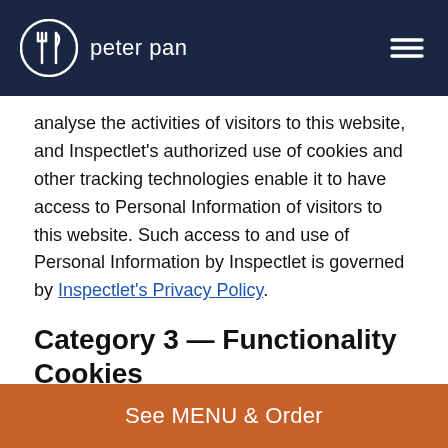peter pan
analyse the activities of visitors to this website, and Inspectlet's authorized use of cookies and other tracking technologies enable it to have access to Personal Information of visitors to this website. Such access to and use of Personal Information by Inspectlet is governed by Inspectlet's Privacy Policy.
Category 3 — Functionality Cookies
These cookies allow the Controller's web application to remember choices you make while browsing and/or using the application (such as your user name, language or the region you are in) and provide enhanced, more personal features.
These cookies can also be used to remember changes you have made to text size, language and other parts of web
See MENU & Order